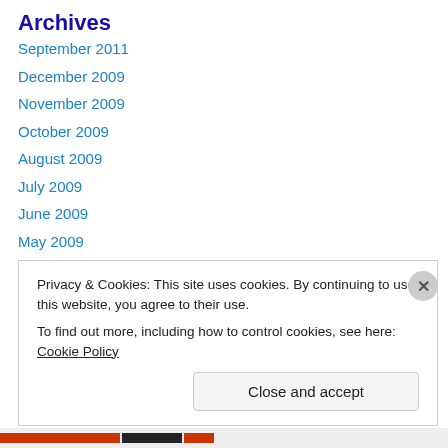Archives
September 2011
December 2009
November 2009
October 2009
August 2009
July 2009
June 2009
May 2009
April 2009
March 2009
February 2009
January 2009
Privacy & Cookies: This site uses cookies. By continuing to use this website, you agree to their use. To find out more, including how to control cookies, see here: Cookie Policy